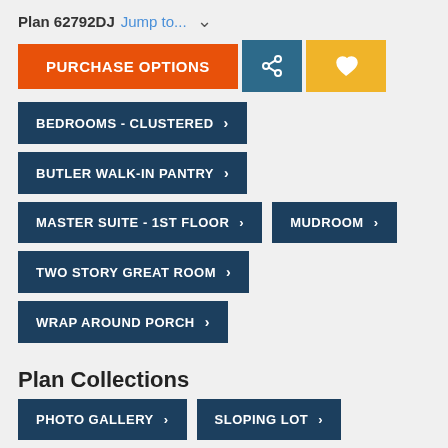Plan 62792DJ Jump to...
PURCHASE OPTIONS
BEDROOMS - CLUSTERED
BUTLER WALK-IN PANTRY
MASTER SUITE - 1ST FLOOR
MUDROOM
TWO STORY GREAT ROOM
WRAP AROUND PORCH
Plan Collections
PHOTO GALLERY
SLOPING LOT